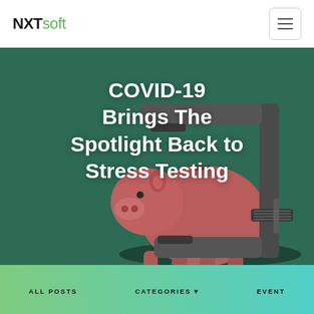NXTsoft
[Figure (photo): Hero image with dark green background showing a pink piggy bank being squeezed by a large metal C-clamp, illustrating financial stress. White title text overlaid reading 'COVID-19 Brings The Spotlight Back to Stress Testing'.]
COVID-19 Brings The Spotlight Back to Stress Testing
ALL POSTS   CATEGORIES   EVENT